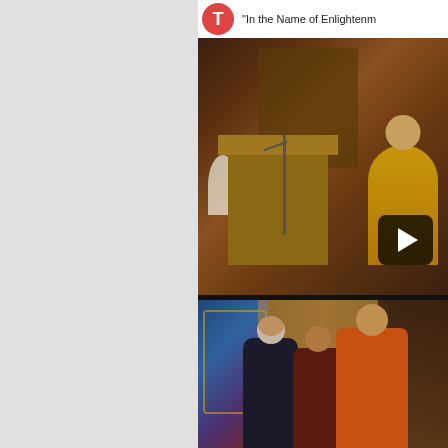[Figure (screenshot): Screenshot of a video player interface showing a Buddhist monk or teacher in yellow robes at a lectern or podium, with a play button overlay. Header bar shows a red avatar circle with 'T' and partial title text 'In the Name of Enlightenm...']
[Figure (photo): Photograph of three people seated together in what appears to be a Buddhist shrine or monastery setting. A Western man in dark clothes on the left, a Buddhist monk in dark maroon robes in the middle, and a senior Tibetan lama in orange/saffron robes on the right. Colorful Tibetan thangka paintings visible in the background.]